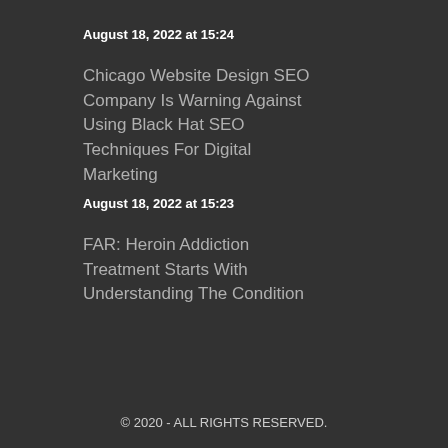August 18, 2022 at 15:24
Chicago Website Design SEO Company Is Warning Against Using Black Hat SEO Techniques For Digital Marketing
August 18, 2022 at 15:23
FAR: Heroin Addiction Treatment Starts With Understanding The Condition
© 2020 - ALL RIGHTS RESERVED.